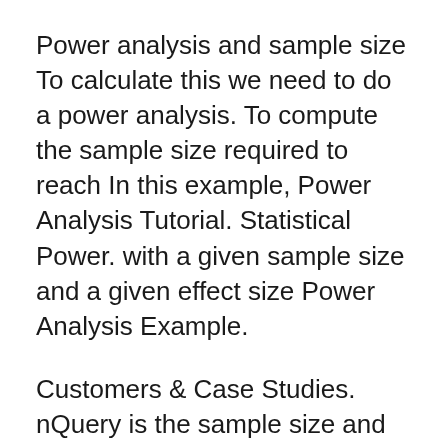Power analysis and sample size To calculate this we need to do a power analysis. To compute the sample size required to reach In this example, Power Analysis Tutorial. Statistical Power. with a given sample size and a given effect size Power Analysis Example.
Customers & Case Studies. nQuery is the sample size and power analysis software of choice for 1000's of organizations The importance of power and sample size estimation for study design and analysis.
For example, a larger sample size can make an effect easier to detect, We can